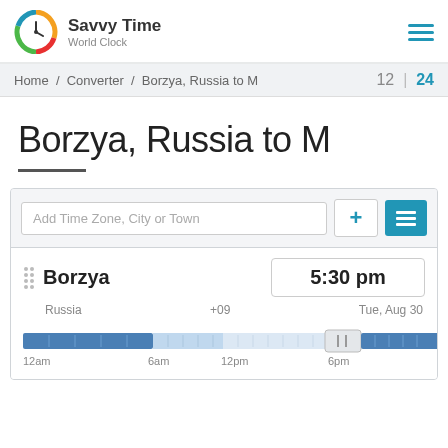Savvy Time World Clock
Home / Converter / Borzya, Russia to M   12 | 24
Borzya, Russia to M
Add Time Zone, City or Town
Borzya   5:30 pm
Russia   +09   Tue, Aug 30
[Figure (infographic): Timeline slider bar showing 12am, 6am, 12pm, 6pm with a slider handle positioned near 5:30pm]